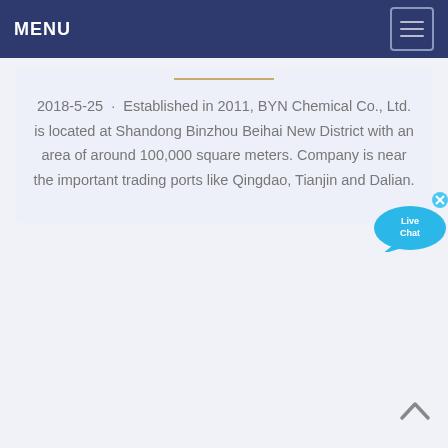MENU
2018-5-25 · Established in 2011, BYN Chemical Co., Ltd. is located at Shandong Binzhou Beihai New District with an area of around 100,000 square meters. Company is near the important trading ports like Qingdao, Tianjin and Dalian.
[Figure (illustration): Live Chat bubble widget in cyan/blue color with 'Live Chat' text and a close (x) button]